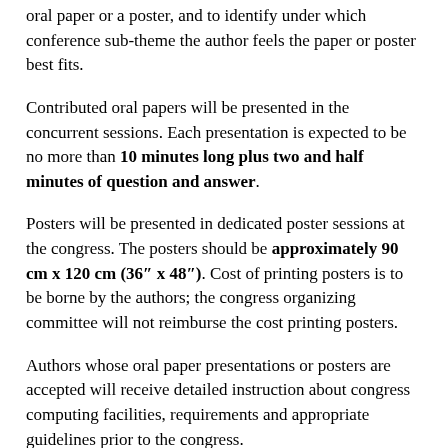oral paper or a poster, and to identify under which conference sub-theme the author feels the paper or poster best fits.
Contributed oral papers will be presented in the concurrent sessions. Each presentation is expected to be no more than 10 minutes long plus two and half minutes of question and answer.
Posters will be presented in dedicated poster sessions at the congress. The posters should be approximately 90 cm x 120 cm (36″ x 48″). Cost of printing posters is to be borne by the authors; the congress organizing committee will not reimburse the cost printing posters.
Authors whose oral paper presentations or posters are accepted will receive detailed instruction about congress computing facilities, requirements and appropriate guidelines prior to the congress.